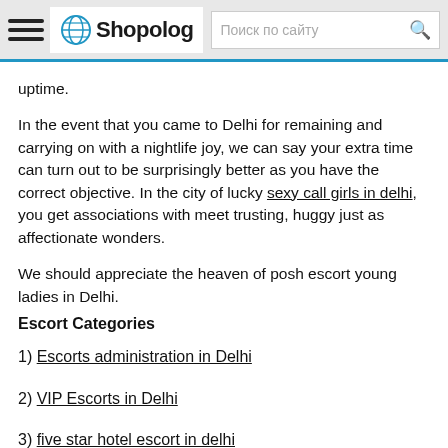Shopolog — Поиск по сайту
uptime.
In the event that you came to Delhi for remaining and carrying on with a nightlife joy, we can say your extra time can turn out to be surprisingly better as you have the correct objective. In the city of lucky sexy call girls in delhi, you get associations with meet trusting, huggy just as affectionate wonders.
We should appreciate the heaven of posh escort young ladies in Delhi.
Escort Categories
1) Escorts administration in Delhi
2) VIP Escorts in Delhi
3) five star hotel escort in delhi